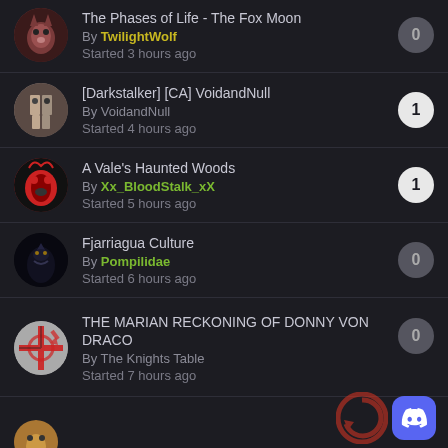The Phases of Life - The Fox Moon
By TwilightWolf
Started 3 hours ago
[Darkstalker] [CA] VoidandNull
By VoidandNull
Started 4 hours ago
A Vale's Haunted Woods
By Xx_BloodStalk_xX
Started 5 hours ago
Fjarriagua Culture
By Pompilidae
Started 6 hours ago
THE MARIAN RECKONING OF DONNY VON DRACO
By The Knights Table
Started 7 hours ago